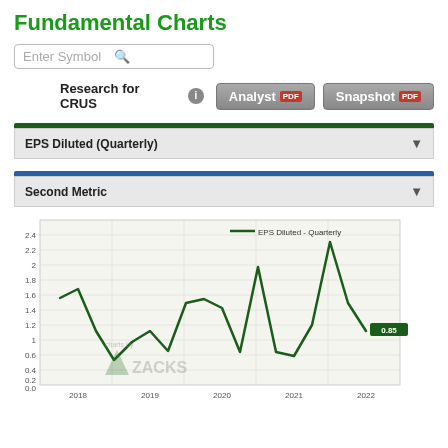Fundamental Charts
Enter Symbol
Research for CRUS
Analyst
Snapshot
EPS Diluted (Quarterly)
Second Metric
[Figure (line-chart): Line chart of EPS Diluted Quarterly for CRUS from 2018 to 2022, showing values that peak around 2.3 in 2022 then drop to 0.85, with current value labeled 0.85]